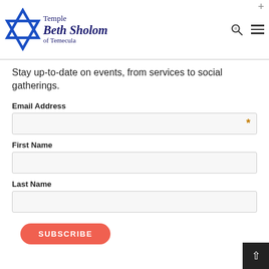[Figure (logo): Temple Beth Sholom of Temecula logo with Star of David]
Stay up-to-date on events, from services to social gatherings.
Email Address
First Name
Last Name
SUBSCRIBE